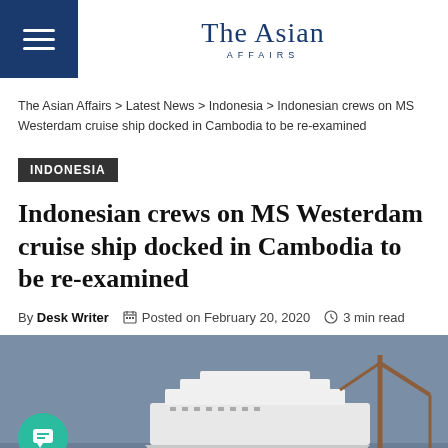The Asian Affairs
The Asian Affairs > Latest News > Indonesia > Indonesian crews on MS Westerdam cruise ship docked in Cambodia to be re-examined
INDONESIA
Indonesian crews on MS Westerdam cruise ship docked in Cambodia to be re-examined
By Desk Writer  Posted on February 20, 2020  3 min read
[Figure (photo): A cruise ship (MS Westerdam) docked with a crane visible, taken against a grey-blue sky. A teal chat bubble icon is in the lower left.]